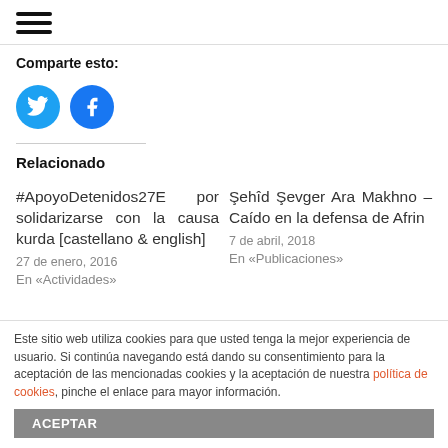[Figure (other): Hamburger menu icon with three horizontal lines]
Comparte esto:
[Figure (other): Twitter and Facebook share buttons as circular icons]
Relacionado
#ApoyoDetenidos27E por solidarizarse con la causa kurda [castellano & english]
27 de enero, 2016
En «Actividades»
Şehîd Şevger Ara Makhno – Caído en la defensa de Afrin
7 de abril, 2018
En «Publicaciones»
Este sitio web utiliza cookies para que usted tenga la mejor experiencia de usuario. Si continúa navegando está dando su consentimiento para la aceptación de las mencionadas cookies y la aceptación de nuestra política de cookies, pinche el enlace para mayor información.
ACEPTAR